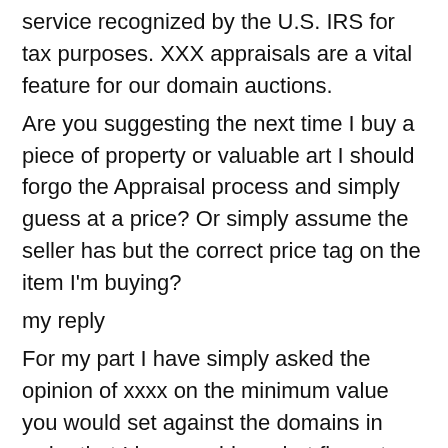service recognized by the U.S. IRS for tax purposes. XXX appraisals are a vital feature for our domain auctions.
Are you suggesting the next time I buy a piece of property or valuable art I should forgo the Appraisal process and simply guess at a price? Or simply assume the seller has but the correct price tag on the item I'm buying?
my reply
For my part I have simply asked the opinion of xxxx on the minimum value you would set against the domains in order that I have an idea what figure to set against the xxxx registrations at auction.
If it was property or art I would base my valuation on past sales and market conditions.
The xxx domains have some historic sales to offer possible indicative values. However, I am not aware of any xxxx language .com keyword registrations that have been sold at auction and certainly not in